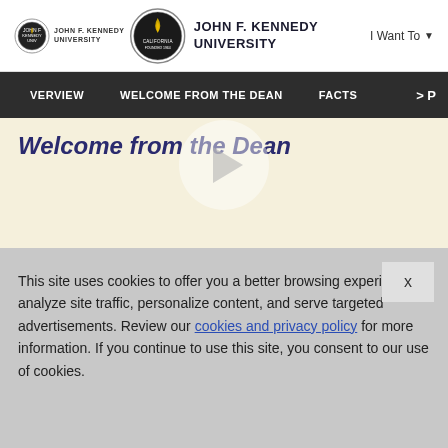John F. Kennedy University — Site header with logo and I Want To navigation
VERVIEW   WELCOME FROM THE DEAN   FACTS   > P
[Figure (illustration): Play button circle icon on cream background]
Welcome from the Dean
This site uses cookies to offer you a better browsing experience, analyze site traffic, personalize content, and serve targeted advertisements. Review our cookies and privacy policy for more information. If you continue to use this site, you consent to our use of cookies.